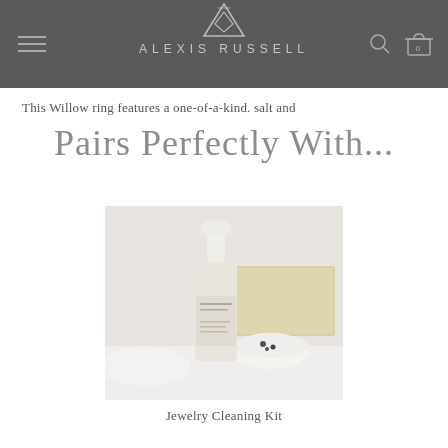ALEXIS RUSSELL
This Willow ring features a one-of-a-kind. salt and
Pairs Perfectly With...
[Figure (photo): A white pump bottle of Alexis Russell jewelry cleaning product, standing on a white marble surface next to a ceramic bowl with small dark beads and a gold-accented tray in the background.]
Jewelry Cleaning Kit